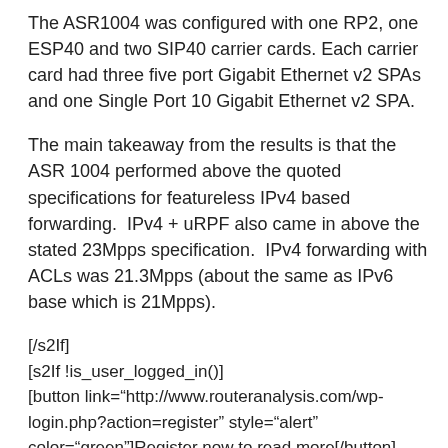The ASR1004 was configured with one RP2, one ESP40 and two SIP40 carrier cards. Each carrier card had three five port Gigabit Ethernet v2 SPAs and one Single Port 10 Gigabit Ethernet v2 SPA.
The main takeaway from the results is that the ASR 1004 performed above the quoted specifications for featureless IPv4 based forwarding.  IPv4 + uRPF also came in above the stated 23Mpps specification.  IPv4 forwarding with ACLs was 21.3Mpps (about the same as IPv6 base which is 21Mpps).
[/s2If]
[s2If !is_user_logged_in()]
[button link="http://www.routeranalysis.com/wp-login.php?action=register" style="alert" color="green"]Register now to read more[/button]
[/s2If]